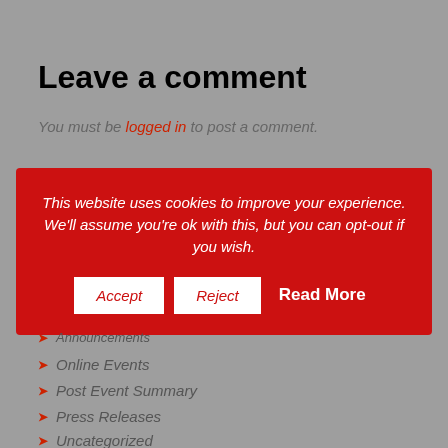Leave a comment
You must be logged in to post a comment.
This website uses cookies to improve your experience. We'll assume you're ok with this, but you can opt-out if you wish. Accept Reject Read More
Announcements
Online Events
Post Event Summary
Press Releases
Uncategorized